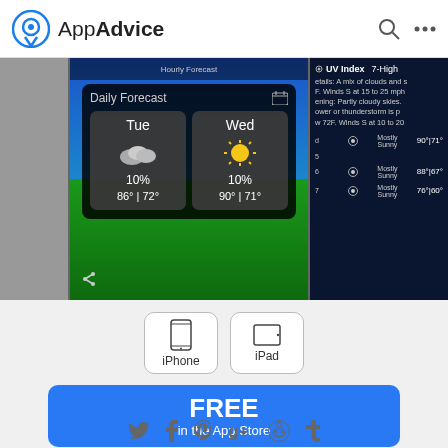AppAdvice
[Figure (screenshot): Screenshot of a weather app showing Daily Forecast widget with Tue 10% 86°|72° and Wed 10% 90°|71°, with UV Index 7-High and Mostly Sunny forecasts on the right panel]
[Figure (infographic): iPhone and iPad device type selector buttons]
[Figure (infographic): FREE in the App Store blue download button]
[Figure (infographic): Social media sharing icons: Twitter, Facebook, Pinterest, Google+, Reddit, Tumblr]